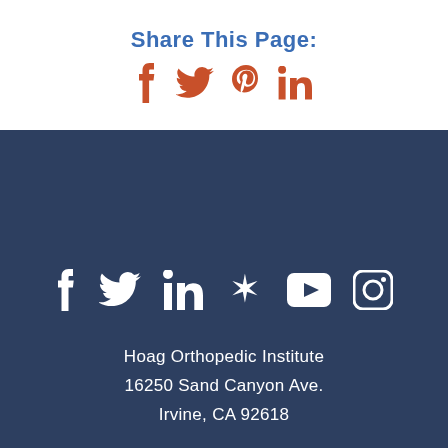Share This Page:
[Figure (infographic): Social share icons: Facebook, Twitter, Pinterest, LinkedIn in orange]
[Figure (infographic): Social media icons on dark blue background: Facebook, Twitter, LinkedIn, Yelp, YouTube, Instagram in white]
Hoag Orthopedic Institute
16250 Sand Canyon Ave.
Irvine, CA 92618